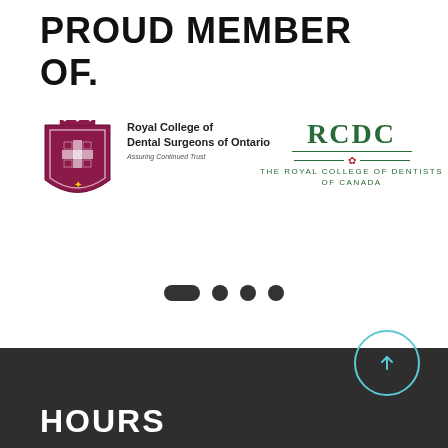PROUD MEMBER OF.
[Figure (logo): Royal College of Dental Surgeons of Ontario logo with crest shield in maroon and text 'Royal College of Dental Surgeons of Ontario' and tagline 'Assuring Continued Trust']
[Figure (logo): RCDC - The Royal College of Dentists of Canada logo in green with maple leaf]
[Figure (other): Carousel navigation dots: one pill-shaped dot followed by three circular dots]
HOURS